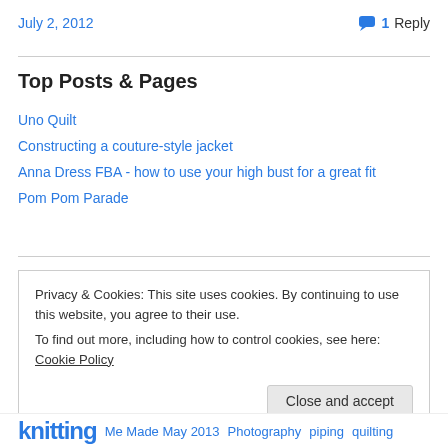July 2, 2012
1 Reply
Top Posts & Pages
Uno Quilt
Constructing a couture-style jacket
Anna Dress FBA - how to use your high bust for a great fit
Pom Pom Parade
Privacy & Cookies: This site uses cookies. By continuing to use this website, you agree to their use. To find out more, including how to control cookies, see here: Cookie Policy
Close and accept
knitting Me Made May 2013 Photography piping quilting